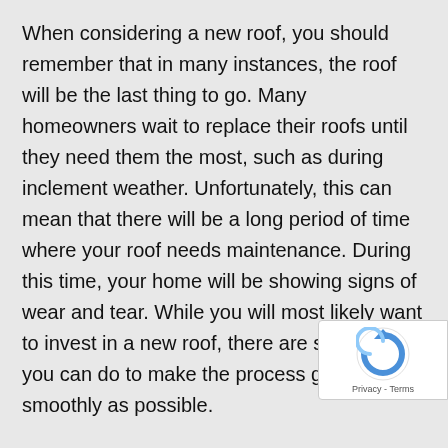When considering a new roof, you should remember that in many instances, the roof will be the last thing to go. Many homeowners wait to replace their roofs until they need them the most, such as during inclement weather. Unfortunately, this can mean that there will be a long period of time where your roof needs maintenance. During this time, your home will be showing signs of wear and tear. While you will most likely want to invest in a new roof, there are some things you can do to make the process go as smoothly as possible.
A new roof can dramatically improve the look of your home. It can also help to prevent damage, such as from hail, wind, and other weather-related debris. You will want to check into the possibility of a roof replacement for any homes with old roofs, but you should also check on the quality of your existing roof.